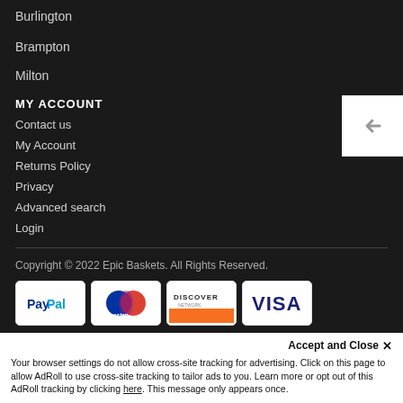Burlington
Brampton
Milton
MY ACCOUNT
Contact us
My Account
Returns Policy
Privacy
Advanced search
Login
Copyright © 2022 Epic Baskets. All Rights Reserved.
[Figure (logo): PayPal payment logo]
[Figure (logo): Maestro payment logo]
[Figure (logo): Discover Network payment logo]
[Figure (logo): Visa payment logo]
Accept and Close ✕
Your browser settings do not allow cross-site tracking for advertising. Click on this page to allow AdRoll to use cross-site tracking to tailor ads to you. Learn more or opt out of this AdRoll tracking by clicking here. This message only appears once.